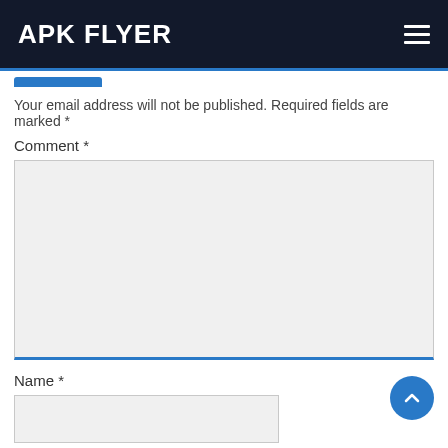APK FLYER
Your email address will not be published. Required fields are marked *
Comment *
[Figure (screenshot): Comment textarea input field with light gray background and blue bottom border]
Name *
[Figure (screenshot): Name text input field with light gray background]
Email *